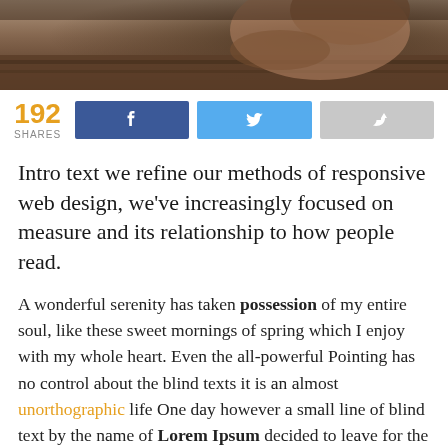[Figure (photo): Cropped photo of a person at a table, dark warm tones, top portion visible]
192 SHARES [Facebook share button] [Twitter share button] [Share button]
Intro text we refine our methods of responsive web design, we've increasingly focused on measure and its relationship to how people read.
A wonderful serenity has taken possession of my entire soul, like these sweet mornings of spring which I enjoy with my whole heart. Even the all-powerful Pointing has no control about the blind texts it is an almost unorthographic life One day however a small line of blind text by the name of Lorem Ipsum decided to leave for the far World of Grammar. The Big Oxmox advised her not to do so, because there were